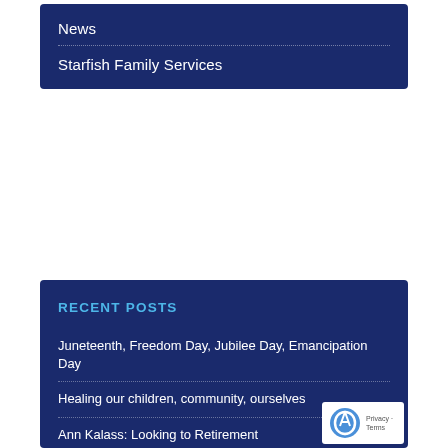News
Starfish Family Services
RECENT POSTS
Juneteenth, Freedom Day, Jubilee Day, Emancipation Day
Healing our children, community, ourselves
Ann Kalass: Looking to Retirement
Starfish blog: Respect, support & #ThankATeacher
Starfish blog: Martin Luther King Jr. Day of service
[Figure (logo): reCAPTCHA badge with Privacy and Terms text]